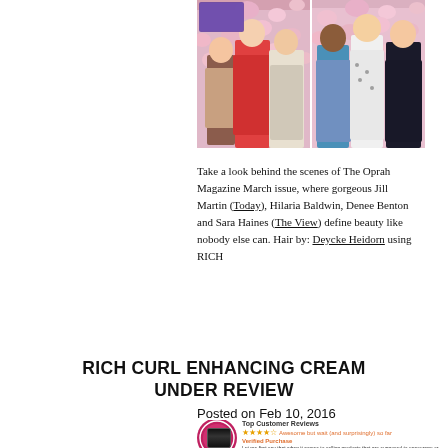[Figure (photo): Two magazine spread photos side by side showing women posing in front of a floral backdrop for The Oprah Magazine March issue. Left photo shows three women; right photo shows three women.]
Take a look behind the scenes of The Oprah Magazine March issue, where gorgeous Jill Martin (Today), Hilaria Baldwin, Denee Benton and Sara Haines (The View) define beauty like nobody else can. Hair by: Deycke Heidorn using RICH
RICH CURL ENHANCING CREAM UNDER REVIEW
Posted on Feb 10, 2016
[Figure (screenshot): Amazon top customer reviews section showing a pink badge, star rating and partial review text for a curly hair product.]